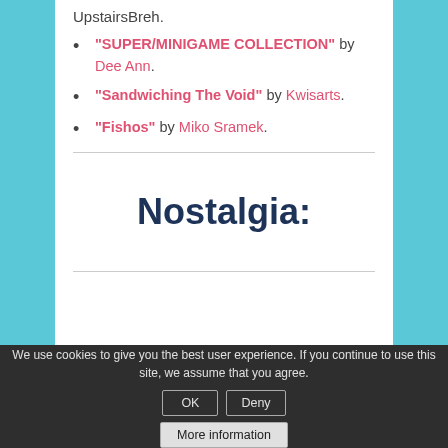UpstairsBreh.
"SUPER/MINIGAME COLLECTION" by Dee Ann.
"Sandwiching The Void" by Kwisarts.
"Fishos" by Miko Sramek.
Nostalgia:
We use cookies to give you the best user experience. If you continue to use this site, we assume that you agree.